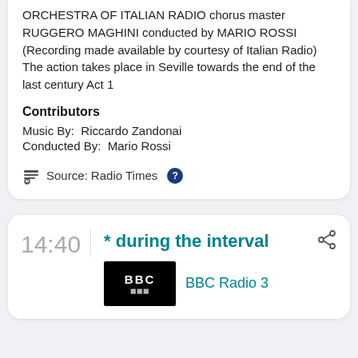ORCHESTRA OF ITALIAN RADIO chorus master RUGGERO MAGHINI conducted by MARIO ROSSI
(Recording made available by courtesy of Italian Radio)
The action takes place in Seville towards the end of the last century Act 1
Contributors
Music By:  Riccardo Zandonai
Conducted By:  Mario Rossi
Source: Radio Times ?
14:40
* during the interval
BBC Radio 3